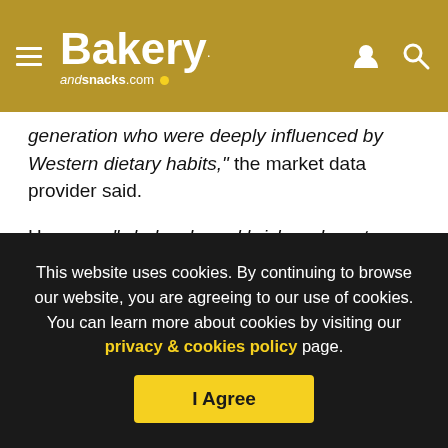Bakery andsnacks.com
generation who were deeply influenced by Western dietary habits," the market data provider said.
However, "wholesale and brick-and-mortar channels have bigger potential for Calbee" as they account for the majority of cereal purchases, it added.
Nuclear pollution concern
...
This website uses cookies. By continuing to browse our website, you are agreeing to our use of cookies. You can learn more about cookies by visiting our privacy & cookies policy page.